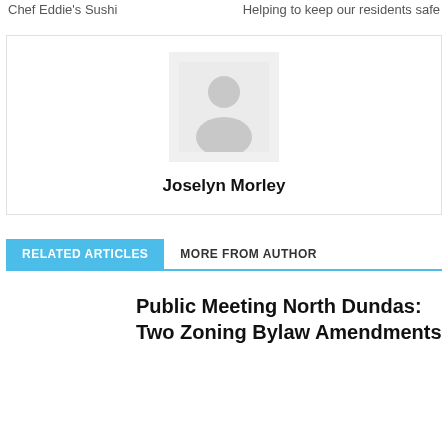Chef Eddie's Sushi
Helping to keep our residents safe
[Figure (photo): Default author avatar placeholder showing a silhouette of a person on a light grey background]
Joselyn Morley
RELATED ARTICLES
MORE FROM AUTHOR
Public Meeting North Dundas: Two Zoning Bylaw Amendments